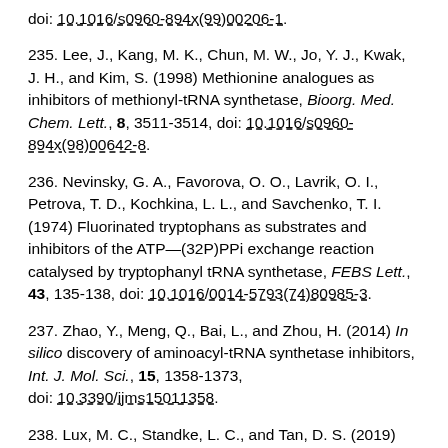doi: 10.1016/s0960-894x(99)00206-1.
235. Lee, J., Kang, M. K., Chun, M. W., Jo, Y. J., Kwak, J. H., and Kim, S. (1998) Methionine analogues as inhibitors of methionyl-tRNA synthetase, Bioorg. Med. Chem. Lett., 8, 3511-3514, doi: 10.1016/s0960-894x(98)00642-8.
236. Nevinsky, G. A., Favorova, O. O., Lavrik, O. I., Petrova, T. D., Kochkina, L. L., and Savchenko, T. I. (1974) Fluorinated tryptophans as substrates and inhibitors of the ATP—(32P)PPi exchange reaction catalysed by tryptophanyl tRNA synthetase, FEBS Lett., 43, 135-138, doi: 10.1016/0014-5793(74)80985-3.
237. Zhao, Y., Meng, Q., Bai, L., and Zhou, H. (2014) In silico discovery of aminoacyl-tRNA synthetase inhibitors, Int. J. Mol. Sci., 15, 1358-1373, doi: 10.3390/ijms15011358.
238. Lux, M. C., Standke, L. C., and Tan, D. S. (2019)